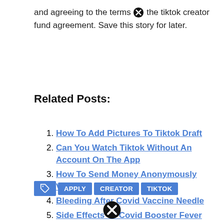and agreeing to the terms ⊗ the tiktok creator fund agreement. Save this story for later.
Related Posts:
How To Add Pictures To Tiktok Draft
Can You Watch Tiktok Without An Account On The App
How To Send Money Anonymously Venmo
Bleeding After Covid Vaccine Needle
Side Effects Of Covid Booster Fever
Royal Caribbean Customer Phone Number
William Levy Movies On Netflix
APPLY  CREATOR  TIKTOK